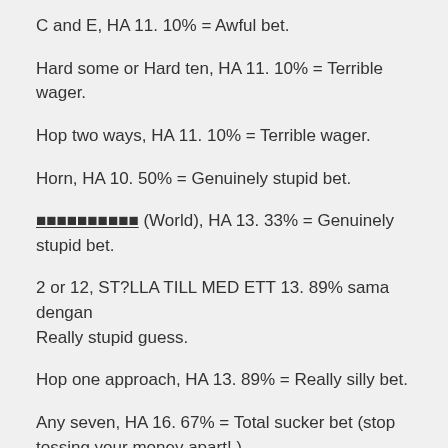C and E, HA 11. 10% = Awful bet.
Hard some or Hard ten, HA 11. 10% = Terrible wager.
Hop two ways, HA 11. 10% = Terrible wager.
Horn, HA 10. 50% = Genuinely stupid bet.
■■■■■■■■■■ (World), HA 13. 33% = Genuinely stupid bet.
2 or 12, ST?LLA TILL MED ETT 13. 89% sama dengan Really stupid guess.
Hop one approach, HA 13. 89% = Really silly bet.
Any seven, HA 16. 67% = Total sucker bet (stop tossing your money apart! ).